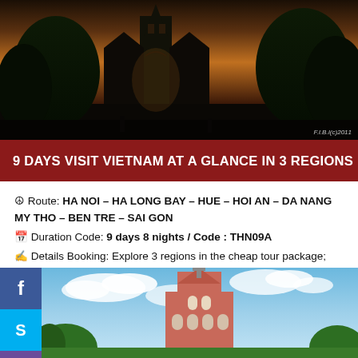[Figure (photo): Gothic cathedral/church at dusk with dark trees and warm evening sky]
9 DAYS VISIT VIETNAM AT A GLANCE IN 3 REGIONS
Route: HA NOI – HA LONG BAY – HUE – HOI AN – DA NANG MY THO – BEN TRE – SAI GON
Duration Code: 9 days 8 nights / Code : THN09A
Details Booking: Explore 3 regions in the cheap tour package; you have a chance of visiting Vietnam with wonderful Long bay, the nicest beach, historical sites and Mekong ta
[Figure (photo): Church tower with pink/red facade against blue sky with clouds]